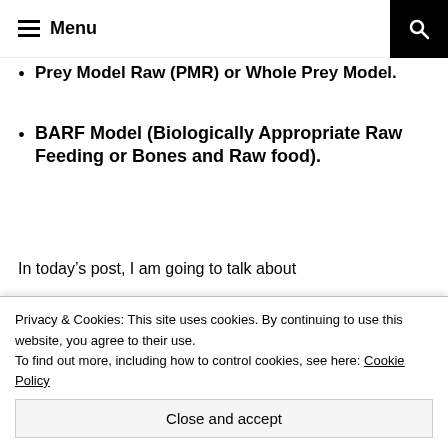Menu
Prey Model Raw (PMR) or Whole Prey Model.
BARF Model (Biologically Appropriate Raw Feeding or Bones and Raw food).
In today’s post, I am going to talk about
What a Prey Model Raw diet is?
How to feed a Prey Model Raw diet to our
Privacy & Cookies: This site uses cookies. By continuing to use this website, you agree to their use.
To find out more, including how to control cookies, see here: Cookie Policy
And lastly, mention some of the many benef…